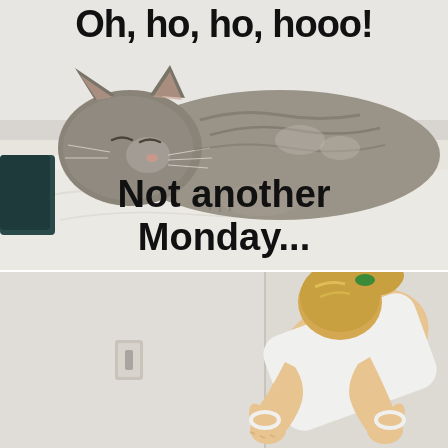[Figure (photo): Meme image: a cat sleeping/resting on white bedding with text overlay. Top text reads 'Oh, ho, ho, hooo!' and bottom text reads 'Not another Monday...']
[Figure (photo): Bottom portion of another image showing a person giving a thumbs up, with blonde ponytail and green hair tie, bending down, indoor setting with wall and light switch visible.]